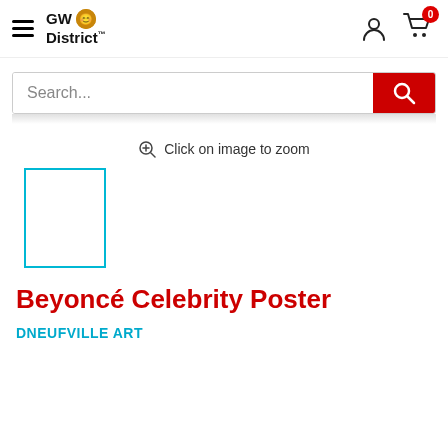GW District — navigation header with logo, hamburger menu, user icon, cart (0)
[Figure (screenshot): Search bar with Search... placeholder and red search button]
Click on image to zoom
[Figure (photo): Thumbnail image placeholder with cyan/teal border outline]
Beyoncé Celebrity Poster
DNEUFVILLE ART